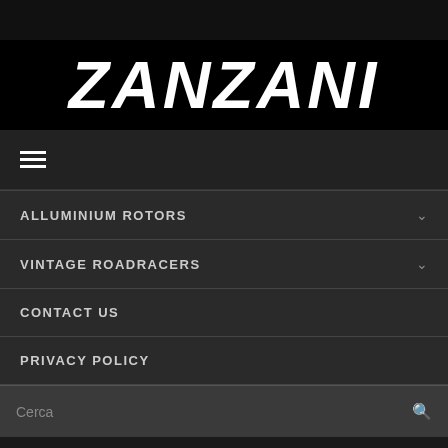[Figure (logo): ZANZANI brand logo in bold white italic text on black background]
≡ (hamburger menu icon)
ALLUMINIUM ROTORS
VINTAGE ROADRACERS
CONTACT US
PRIVACY POLICY
Cerca
MOST READILY USEFUL COUGAR SITE THAT